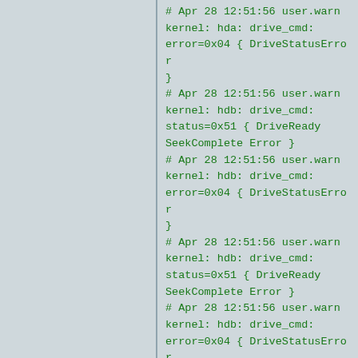# Apr 28 12:51:56 user.warn kernel: hda: drive_cmd: error=0x04 { DriveStatusError }
# Apr 28 12:51:56 user.warn kernel: hdb: drive_cmd: status=0x51 { DriveReady SeekComplete Error }
# Apr 28 12:51:56 user.warn kernel: hdb: drive_cmd: error=0x04 { DriveStatusError }
# Apr 28 12:51:56 user.warn kernel: hdb: drive_cmd: status=0x51 { DriveReady SeekComplete Error }
# Apr 28 12:51:56 user.warn kernel: hdb: drive_cmd: error=0x04 { DriveStatusError }
# Apr 28 12:51:56 user.info kernel: eth0: Setting full-duplex based on MII #1 link partner capability of 45e1.
# Apr 28 12:51:56 user.warn